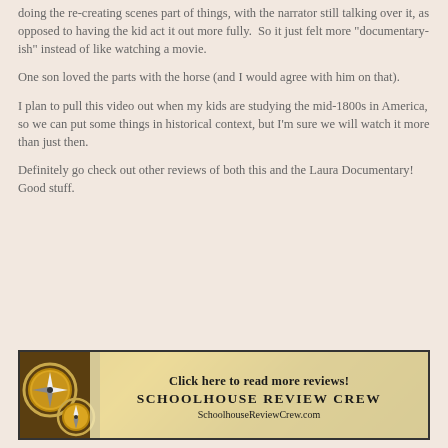doing the re-creating scenes part of things, with the narrator still talking over it, as opposed to having the kid act it out more fully.  So it just felt more "documentary-ish" instead of like watching a movie.
One son loved the parts with the horse (and I would agree with him on that).
I plan to pull this video out when my kids are studying the mid-1800s in America, so we can put some things in historical context, but I'm sure we will watch it more than just then.
Definitely go check out other reviews of both this and the Laura Documentary!  Good stuff.
[Figure (infographic): Banner advertisement with compass image on left and text: 'Click here to read more reviews! SCHOOLHOUSE REVIEW CREW SchoolhouseReviewCrew.com']